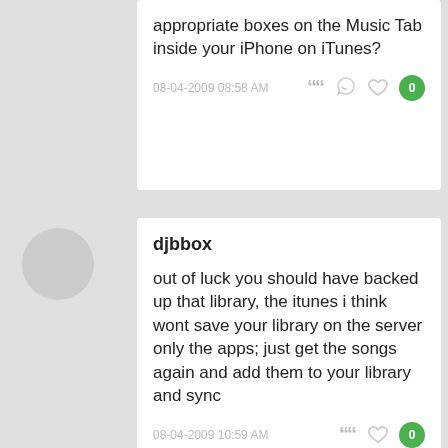appropriate boxes on the Music Tab inside your iPhone on iTunes?
08-04-2009 08:58 AM
djbbox
out of luck you should have backed up that library, the itunes i think wont save your library on the server only the apps; just get the songs again and add them to your library and sync
08-04-2009 10:59 AM
flyingember
you'll have to use a third party app such as